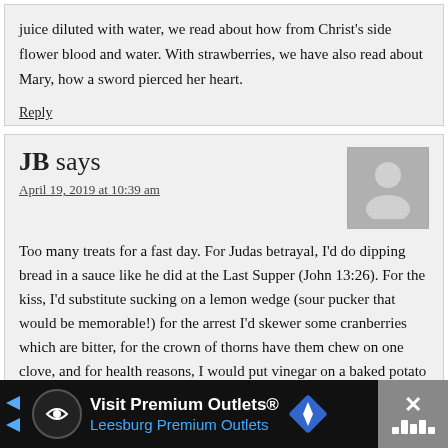juice diluted with water, we read about how from Christ's side flower blood and water. With strawberries, we have also read about Mary, how a sword pierced her heart.
Reply
JB says
April 19, 2019 at 10:39 am
[Figure (illustration): Generic user avatar placeholder icon — silhouette of a person on gray background]
Too many treats for a fast day. For Judas betrayal, I'd do dipping bread in a sauce like he did at the Last Supper (John 13:26). For the kiss, I'd substitute sucking on a lemon wedge (sour pucker that would be memorable!) for the arrest I'd skewer some cranberries which are bitter, for the crown of thorns have them chew on one clove, and for health reasons, I would put vinegar on a baked potato (potato chips are in the top ten worst foods )
Reply
Visit Premium Outlets® Leesburg Premium Outlets